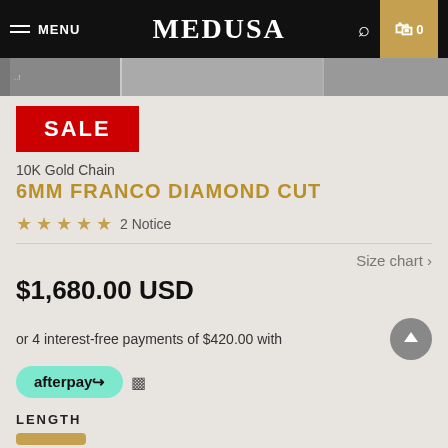MENU  MEDUSA  0
[Figure (photo): Product image strip showing gold chain jewelry thumbnails]
SALE
10K Gold Chain
6MM FRANCO DIAMOND CUT
★★★★★ 2 Notice
Size chart ›
$1,680.00 USD
or 4 interest-free payments of $420.00 with
[Figure (logo): Afterpay logo badge in teal/mint color]
LENGTH